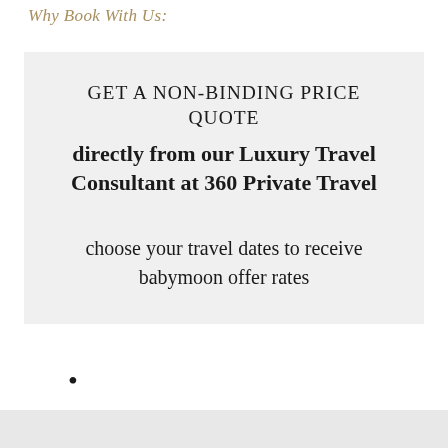Why Book With Us:
GET A NON-BINDING PRICE QUOTE directly from our Luxury Travel Consultant at 360 Private Travel

choose your travel dates to receive babymoon offer rates
• • •